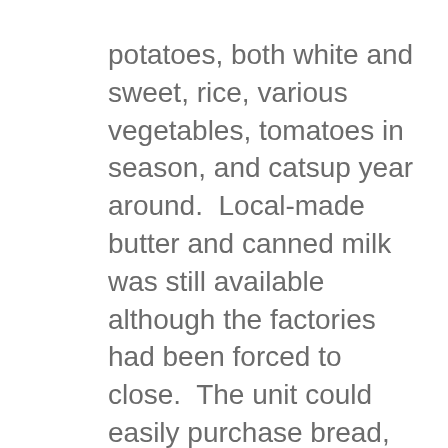potatoes, both white and sweet, rice, various vegetables, tomatoes in season, and catsup year around.  Local-made butter and canned milk was still available although the factories had been forced to close.  The unit could easily purchase bread, local rice wine (both yellow and white) and a local brandy; Japanese beer occasionally could be found.
The men played softball, basketball, and touch football. Every two weeks two men went to Yunwho (now Yunhe) – 40